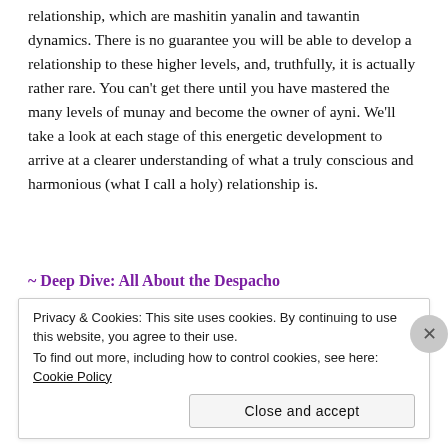relationship, which are mashitin yanalin and tawantin dynamics. There is no guarantee you will be able to develop a relationship to these higher levels, and, truthfully, it is actually rather rare. You can't get there until you have mastered the many levels of munay and become the owner of ayni. We'll take a look at each stage of this energetic development to arrive at a clearer understanding of what a truly conscious and harmonious (what I call a holy) relationship is.
~ Deep Dive: All About the Despacho
Privacy & Cookies: This site uses cookies. By continuing to use this website, you agree to their use.
To find out more, including how to control cookies, see here: Cookie Policy
Close and accept